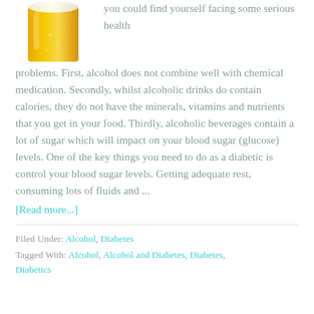[Figure (photo): A glass of beer with golden color and foam, partially visible at the top of the page]
you could find yourself facing some serious health problems. First, alcohol does not combine well with chemical medication. Secondly, whilst alcoholic drinks do contain calories, they do not have the minerals, vitamins and nutrients that you get in your food. Thirdly, alcoholic beverages contain a lot of sugar which will impact on your blood sugar (glucose) levels. One of the key things you need to do as a diabetic is control your blood sugar levels. Getting adequate rest, consuming lots of fluids and ...
[Read more...]
Filed Under: Alcohol, Diabetes
Tagged With: Alcohol, Alcohol and Diabetes, Diabetes, Diabetics